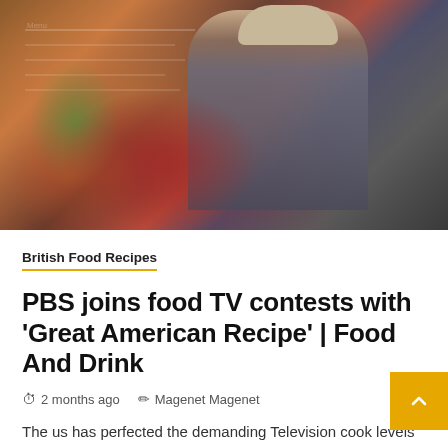[Figure (photo): A man wearing a cap and grey shirt in a restaurant/bar setting, with blurred colorful foreground elements. A chalkboard menu is visible in the background.]
5 min read
British Food Recipes
PBS joins food TV contests with 'Great American Recipe' | Food And Drink
2 months ago   Magenet Magenet
The us has perfected the demanding Television cook levels of competition, pitting amateur or skilled coo from every other in...